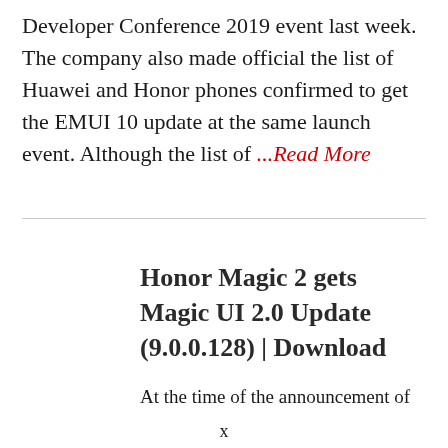Developer Conference 2019 event last week. The company also made official the list of Huawei and Honor phones confirmed to get the EMUI 10 update at the same launch event. Although the list of ...Read More
Honor Magic 2 gets Magic UI 2.0 Update (9.0.0.128) | Download
At the time of the announcement of